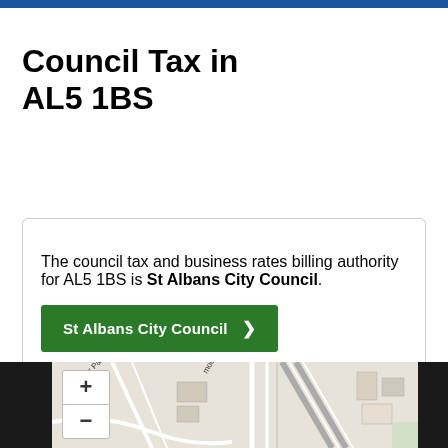Council Tax in AL5 1BS
The council tax and business rates billing authority for AL5 1BS is St Albans City Council.
[Figure (map): Street map showing the AL5 1BS area with zoom controls (+ and -), showing roads and buildings in the Harpenden/St Albans area including 'moor Park' label visible.]